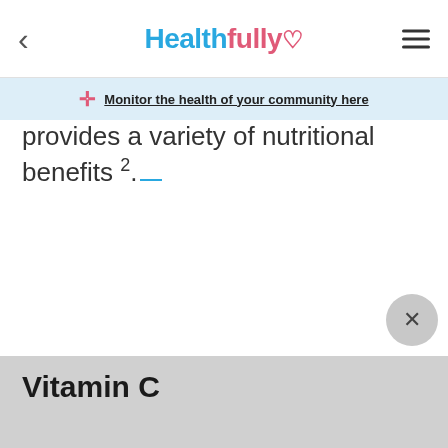Healthfully
Monitor the health of your community here
provides a variety of nutritional benefits 2.
Vitamin C